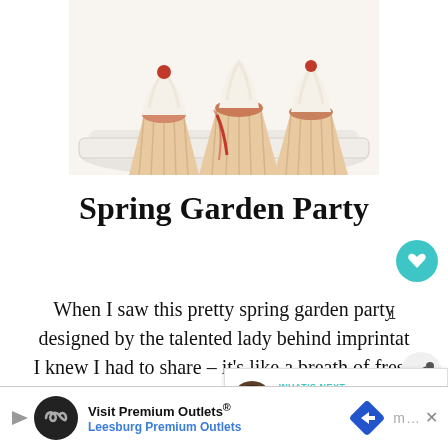[Figure (photo): Three white-frosted cupcakes with red accents on a white serving tray, photographed from above-front angle]
Spring Garden Party
When I saw this pretty spring garden party designed by the talented lady behind imprintab I knew I had to share – it's like a breath of fresh air in the midst of what is starting to feel like an impossibly long, cold winter. While this party was
[Figure (infographic): WHAT'S NEXT panel showing The Sweetest Baby Shower with thumbnail image]
[Figure (infographic): Advertisement banner: Visit Premium Outlets® Leesburg Premium Outlets with logo and arrow icon]